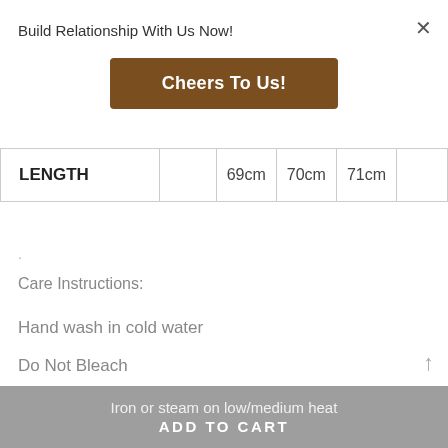Build Relationship With Us Now!
[Figure (other): Brown button labeled 'Cheers To Us!']
| LENGTH |  | 69cm | 70cm | 71cm |  |
| --- | --- | --- | --- | --- | --- |
.
Care Instructions:
Hand wash in cold water
Do Not Bleach
Iron or steam on low/medium heat
ADD TO CART